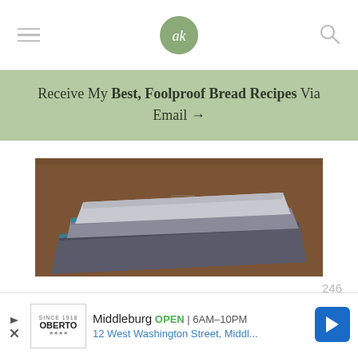Navigation bar with hamburger menu, ak logo, and search icon
Receive My Best, Foolproof Bread Recipes Via Email →
[Figure (photo): Stacked folded cloth napkins or fabric on a wooden surface]
246
[Figure (other): Heart/save button icon in a circle]
[Figure (other): Search button icon in a sage green circle]
Middleburg OPEN | 6AM–10PM 12 West Washington Street, Middl...